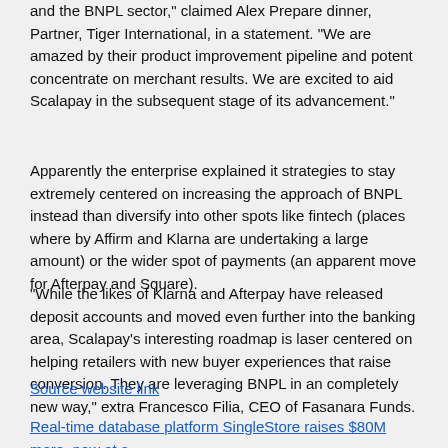and the BNPL sector," claimed Alex Prepare dinner, Partner, Tiger International, in a statement. "We are amazed by their product improvement pipeline and potent concentrate on merchant results. We are excited to aid Scalapay in the subsequent stage of its advancement."
Apparently the enterprise explained it strategies to stay extremely centered on increasing the approach of BNPL instead than diversify into other spots like fintech (places where by Affirm and Klarna are undertaking a large amount) or the wider spot of payments (an apparent move for Afterpay and Square).
"While the likes of Klarna and Afterpay have released deposit accounts and moved even further into the banking area, Scalapay's interesting roadmap is laser centered on helping retailers with new buyer experiences that raise conversion. They are leveraging BNPL in an completely new way," extra Francesco Filia, CEO of Fasanara Funds.
Source website link
Real-time database platform SingleStore raises $80M more, now at a